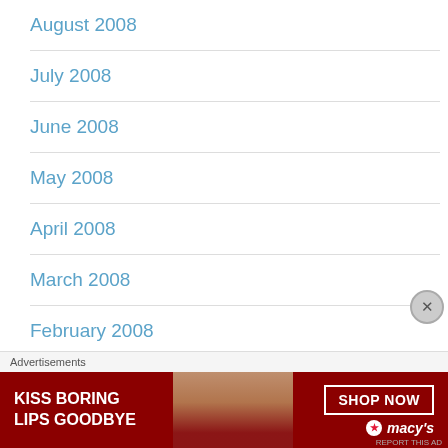August 2008
July 2008
June 2008
May 2008
April 2008
March 2008
February 2008
January 2008
Advertisements
[Figure (photo): Macy's advertisement banner: 'KISS BORING LIPS GOODBYE' with a woman's face showing red lips, and a 'SHOP NOW' button with Macy's star logo]